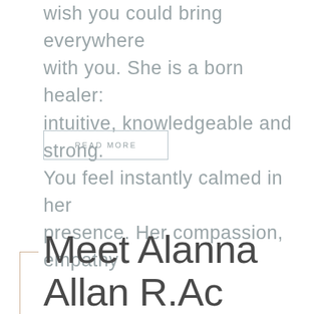wish you could bring everywhere with you. She is a born healer: intuitive, knowledgeable and strong. You feel instantly calmed in her presence. Her compassion, empathy
READ MORE
Meet Alanna Allan R.Ac...